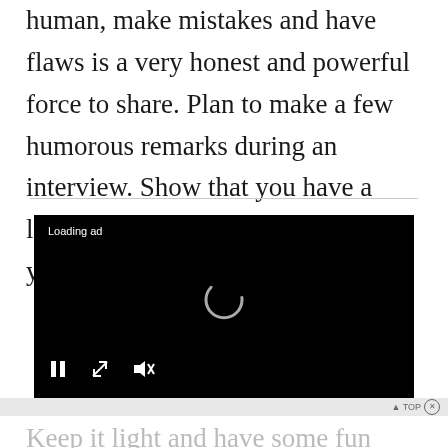human, make mistakes and have flaws is a very honest and powerful force to share. Plan to make a few humorous remarks during an interview. Show that you have a less-than-always serious side about you.
[Figure (screenshot): A black video player with 'Loading ad' text in top-left, a spinning loading indicator in the center, and media control icons (pause, fullscreen, mute) at the bottom.]
Keep it light and have some fun along the